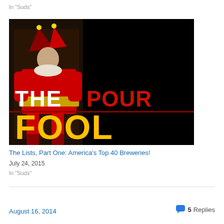In "Suds"
[Figure (illustration): The Pour Fool blog logo: black background with a painting of a jester/fool in red costume on the left, overlaid with bold text 'THE' in white, 'POUR' in red, and 'FOOL' in yellow/gold.]
The Lists, Part One: America's Top 40 Breweries!
July 24, 2015
In "Suds"
August 16, 2014   5 Replies